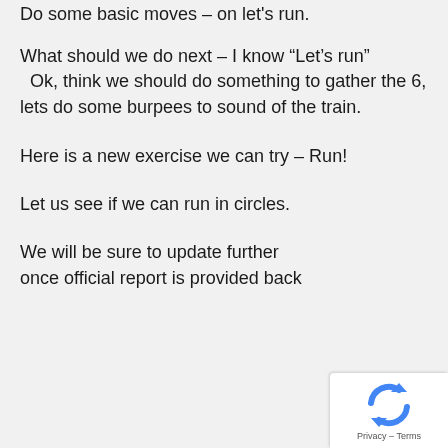Do some basic moves – on let's run.
What should we do next – I know “Let’s run”   Ok, think we should do something to gather the 6, lets do some burpees to sound of the train.
Here is a new exercise we can try – Run!
Let us see if we can run in circles.
We will be sure to update further once official report is provided back